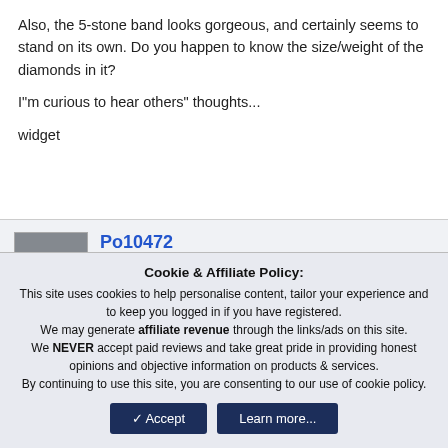Also, the 5-stone band looks gorgeous, and certainly seems to stand on its own. Do you happen to know the size/weight of the diamonds in it?
I"m curious to hear others" thoughts...
widget
Po10472
[Figure (illustration): Brilliant Rock badge/logo — dark blue banner with diamond graphic and text 'Brilliant Rock']
Cookie & Affiliate Policy: This site uses cookies to help personalise content, tailor your experience and to keep you logged in if you have registered. We may generate affiliate revenue through the links/ads on this site. We NEVER accept paid reviews and take great pride in providing honest opinions and objective information on products & services. By continuing to use this site, you are consenting to our use of cookie policy.